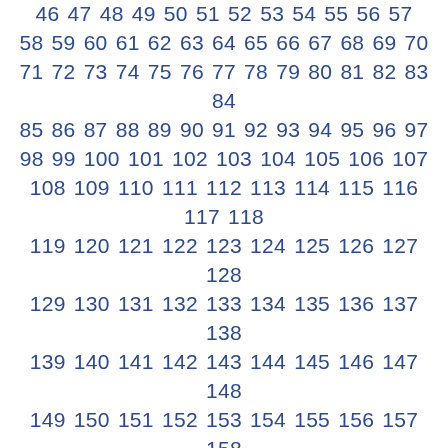56 57 58 59 60 61 62 63 64 65 66 67 58 59 60 61 62 63 64 65 66 67 68 69 70 71 72 73 74 75 76 77 78 79 80 81 82 83 84 85 86 87 88 89 90 91 92 93 94 95 96 97 98 99 100 101 102 103 104 105 106 107 108 109 110 111 112 113 114 115 116 117 118 119 120 121 122 123 124 125 126 127 128 129 130 131 132 133 134 135 136 137 138 139 140 141 142 143 144 145 146 147 148 149 150 151 152 153 154 155 156 157 158 159 160 161 162 163 164 165 166 167 168 169 170 171 172 173 174 175 176 177 178 179 180 181 182 183 184 185 186 187 188 189 190 191 192 193 194 195 196 197 198 199 200 201 202 203 204 205 206 207 208 209 210 211 212 213 214 215 216 217 218 219 220 221 222 223 224 225 226 227 228 229 230 231 232 233 234 235 236 237 238 239 240 241 242 243 244 245 246 247 248 249 250 251 252 253 254 255 256 257 258 259 260 261 262 263 264 265 266 267 268 269 270 271